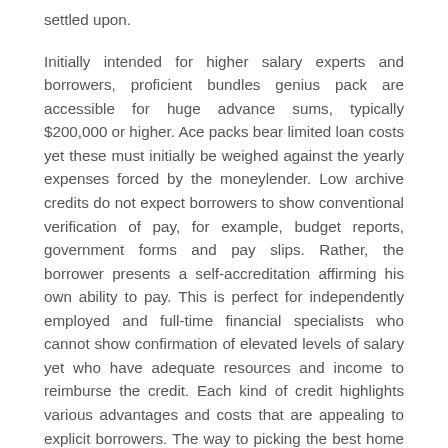settled upon.
Initially intended for higher salary experts and borrowers, proficient bundles genius pack are accessible for huge advance sums, typically $200,000 or higher. Ace packs bear limited loan costs yet these must initially be weighed against the yearly expenses forced by the moneylender. Low archive credits do not expect borrowers to show conventional verification of pay, for example, budget reports, government forms and pay slips. Rather, the borrower presents a self-accreditation affirming his own ability to pay. This is perfect for independently employed and full-time financial specialists who cannot show confirmation of elevated levels of salary yet who have adequate resources and income to reimburse the credit. Each kind of credit highlights various advantages and costs that are appealing to explicit borrowers. The way to picking the best home credits lies in understanding the